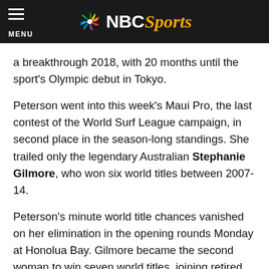MENU | NBC Sports
a breakthrough 2018, with 20 months until the sport's Olympic debut in Tokyo.
Peterson went into this week's Maui Pro, the last contest of the World Surf League campaign, in second place in the season-long standings. She trailed only the legendary Australian Stephanie Gilmore, who won six world titles between 2007-14.
Peterson's minute world title chances vanished on her elimination in the opening rounds Monday at Honolua Bay. Gilmore became the second woman to win seven world titles, joining retired countrywoman Layne Beachley.
“Stephanie’s trying to be the greatest of all time,” said USA Surfing Olympic coach Joey Buran, who guided Peterson a decade ago in her early teens, around when